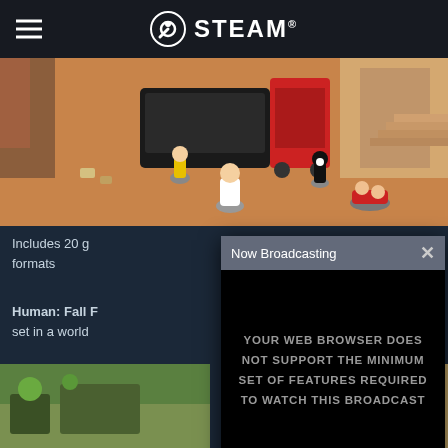STEAM
[Figure (screenshot): Top-down 3D game screenshot showing cartoon characters in an orange/warehouse environment]
Includes 20 g... formats
Human: Fall F... set in a world...
[Figure (screenshot): Second game screenshot showing green/outdoor environment]
NOW BROADCASTING

YOUR WEB BROWSER DOES NOT SUPPORT THE MINIMUM SET OF FEATURES REQUIRED TO WATCH THIS BROADCAST